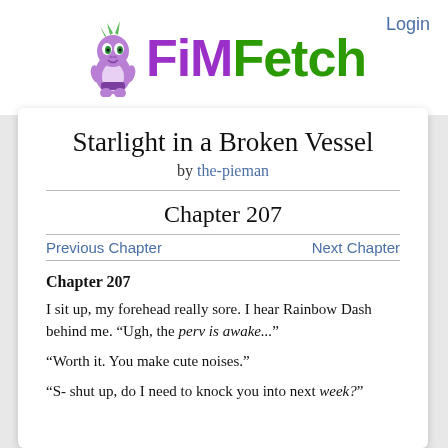[Figure (logo): FiMFetch logo with purple and green text and a cartoon purple dragon (Spike) mascot]
Login
Starlight in a Broken Vessel
by the-pieman
Chapter 207
Previous Chapter
Next Chapter
Chapter 207
I sit up, my forehead really sore. I hear Rainbow Dash behind me. “Ugh, the perv is awake...”
“Worth it. You make cute noises.”
“S- shut up, do I need to knock you into next week?”